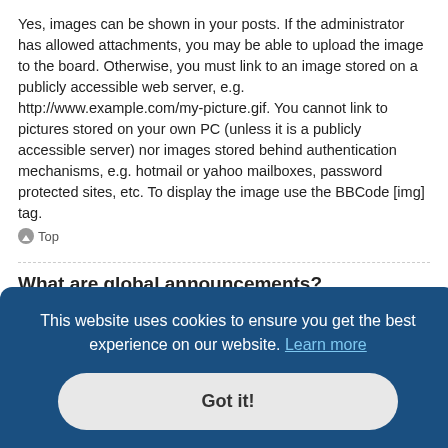Yes, images can be shown in your posts. If the administrator has allowed attachments, you may be able to upload the image to the board. Otherwise, you must link to an image stored on a publicly accessible web server, e.g. http://www.example.com/my-picture.gif. You cannot link to pictures stored on your own PC (unless it is a publicly accessible server) nor images stored behind authentication mechanisms, e.g. hotmail or yahoo mailboxes, password protected sites, etc. To display the image use the BBCode [img] tag.
Top
What are global announcements?
Global announcements contain important information and you should read them whenever possible. They will appear at the top of every forum and within your User Control Panel. Global announcement permissions are
you are
Announcements appear at the top of every page in the forum to which
This website uses cookies to ensure you get the best experience on our website. Learn more
Got it!